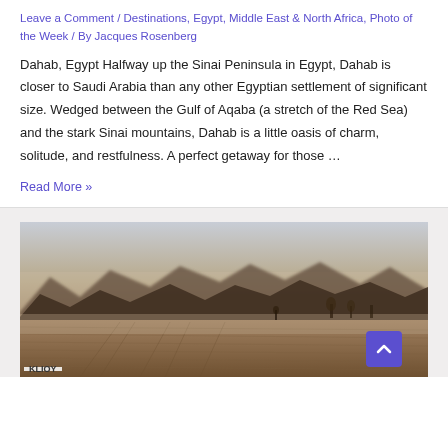Leave a Comment / Destinations, Egypt, Middle East & North Africa, Photo of the Week / By Jacques Rosenberg
Dahab, Egypt Halfway up the Sinai Peninsula in Egypt, Dahab is closer to Saudi Arabia than any other Egyptian settlement of significant size. Wedged between the Gulf of Aqaba (a stretch of the Red Sea) and the stark Sinai mountains, Dahab is a little oasis of charm, solitude, and restfulness. A perfect getaway for those …
Read More »
[Figure (photo): Desert landscape with sandy terrain in the foreground, hazy mountains in the background, and sparse vegetation. Dusty atmospheric conditions. Watermark 'KLIOY' in bottom left.]